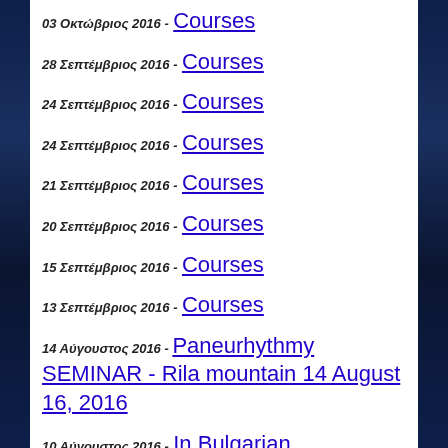03 Οκτώβριος 2016 - Courses
28 Σεπτέμβριος 2016 - Courses
24 Σεπτέμβριος 2016 - Courses
24 Σεπτέμβριος 2016 - Courses
21 Σεπτέμβριος 2016 - Courses
20 Σεπτέμβριος 2016 - Courses
15 Σεπτέμβριος 2016 - Courses
13 Σεπτέμβριος 2016 - Courses
14 Αύγουστος 2016 - Paneurhythmy SEMINAR - Rila mountain 14 August 16, 2016
10 Αύγουστος 2016 - In Bulgarian
15 Ιούλιος 2016 - In Bulgarian